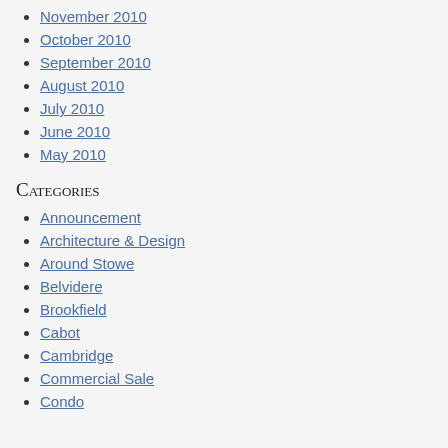November 2010
October 2010
September 2010
August 2010
July 2010
June 2010
May 2010
Categories
Announcement
Architecture & Design
Around Stowe
Belvidere
Brookfield
Cabot
Cambridge
Commercial Sale
Condo